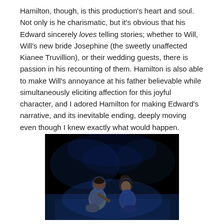Hamilton, though, is this production's heart and soul. Not only is he charismatic, but it's obvious that his Edward sincerely loves telling stories; whether to Will, Will's new bride Josephine (the sweetly unaffected Kianee Truvillion), or their wedding guests, there is passion in his recounting of them. Hamilton is also able to make Will's annoyance at his father believable while simultaneously eliciting affection for this joyful character, and I adored Hamilton for making Edward's narrative, and its inevitable ending, deeply moving even though I knew exactly what would happen.
[Figure (photo): Two actors on a dark stage lit with blue light, sitting close together facing each other in an intimate scene. The background is nearly black with faint set elements visible.]